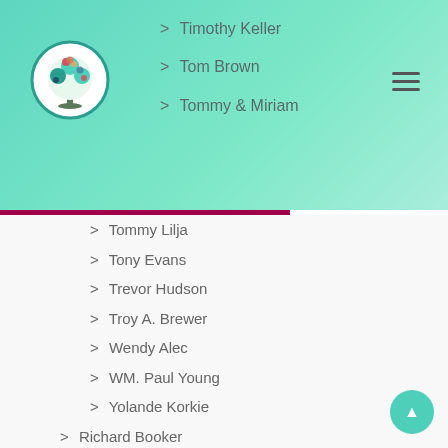[Figure (logo): Circular tree logo with colorful leaves on teal background]
> Timothy Keller
> Tom Brown
> Tommy & Miriam
> Tommy Lilja
> Tony Evans
> Trevor Hudson
> Troy A. Brewer
> Wendy Alec
> WM. Paul Young
> Yolande Korkie
> Richard Booker
> English Books
> Categories
> 52 Life Principles
> Daily Prophetic "Call to Arms"